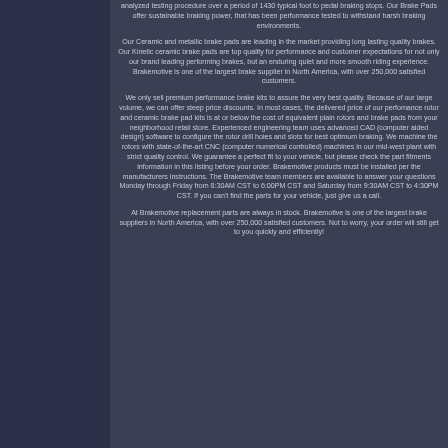analyzed testing procedure over a period of 1430 typical foot to pedal braking stops. Our Brake Pads offer sustainable braking power, that has been performance tested to withstand harsh braking environments.
Our Ceramic and metallic brake pads are leading in the market providing long lasting quality brakes. Our Kinetic ceramic brake pads are top quality for performance and customer expectations for not only our brand leading performing brakes, but an enduring quiet and more smooth riding experience. Brakemotive is one of the largest brake supplier in North America, with over 250,000 satisfied customers.
We only sell premium performance brake kits to assure the very best quality. Because of our large volume, we can offer steep price discounts. In most cases, the delivered price of our perfomance rotor and ceramic brake pad kits is at or below the cost of equivalent plain rotors and brake pads from your neighborhood retail store. Experienced engineering team uses advanced CAD (computer aided design) software to configure the rotor drill holes and slots for best optimum braking. We machine the rotors with state-of-the-art CNC (computer numerical controlled) machines in our mid-west plant with strict quality control. We guarantee a perfect fit to your vehicle, but please check the part fitments information in this listing before your order. Brakemotive products must be installed per the manufacturers instructions. The Brakemotive team members are available to answer your questions Monday through Friday from 8:30AM CST to 6:00PM CST and Saturday from 9:30AM CST to 4:30PM CST. If you can't find the parts for your vehicle, just give us a call.
At Brakemotive replacement parts are always in stock. Brakemotive is one of the largest brake suppliers in North America, with over 250,000 satisfied customers. Not to worry, your order will still get to you quickly and efficiently!